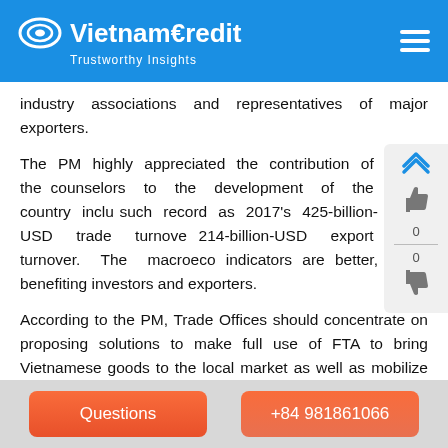VietnamCredit — Trustworthy Insights
industry associations and representatives of major exporters.
The PM highly appreciated the contribution of the counselors to the development of the country including such record as 2017's 425-billion-USD trade turnover, 214-billion-USD export turnover. The macroeconomic indicators are better, benefiting investors and exporters.
According to the PM, Trade Offices should concentrate on proposing solutions to make full use of FTA to bring Vietnamese goods to the local market as well as mobilize local enterprises to cooperate with Vietnamese
Questions | +84 981861066